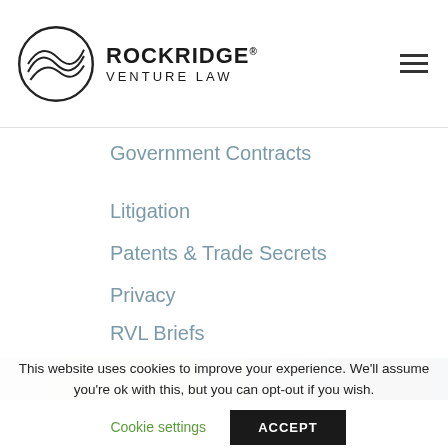[Figure (logo): Rockridge Venture Law logo with circular wave emblem and bold text]
Government Contracts
Litigation
Patents & Trade Secrets
Privacy
RVL Briefs
RVL News
[Figure (photo): Partial photo strip showing a blurred office/person scene]
This website uses cookies to improve your experience. We'll assume you're ok with this, but you can opt-out if you wish.
Cookie settings   ACCEPT